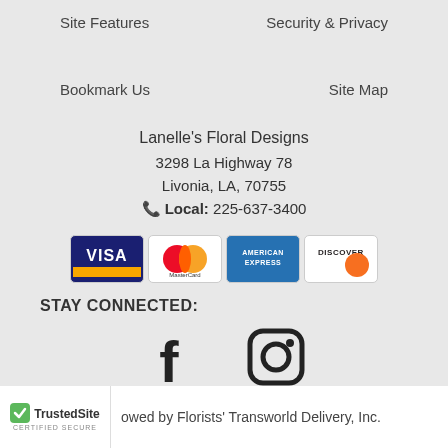Site Features
Security & Privacy
Bookmark Us
Site Map
Lanelle's Floral Designs
3298 La Highway 78
Livonia, LA, 70755
📞 Local: 225-637-3400
[Figure (other): Payment method logos: Visa, MasterCard, American Express, Discover]
STAY CONNECTED:
[Figure (other): Social media icons: Facebook and Instagram]
Powered by Florists' Transworld Delivery, Inc.